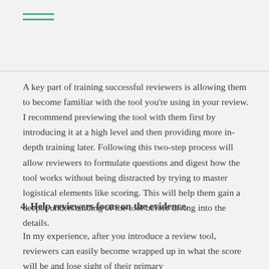≡
A key part of training successful reviewers is allowing them to become familiar with the tool you're using in your review. I recommend previewing the tool with them first by introducing it at a high level and then providing more in-depth training later. Following this two-step process will allow reviewers to formulate questions and digest how the tool works without being distracted by trying to master logistical elements like scoring. This will help them gain a deeper understanding of the tool before diving into the details.
4. Help reviewers focus on the evidence.
In my experience, after you introduce a review tool, reviewers can easily become wrapped up in what the score will be and lose sight of their primary